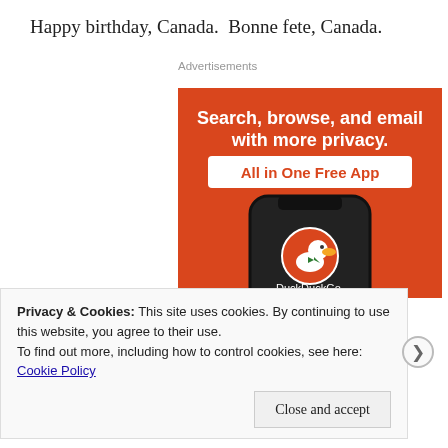Happy birthday, Canada.  Bonne fete, Canada.
Advertisements
[Figure (illustration): DuckDuckGo advertisement: orange background with white bold text 'Search, browse, and email with more privacy.' and a white button with orange text 'All in One Free App'. Below is a smartphone showing the DuckDuckGo logo (duck icon in orange circle) and the text 'DuckDuckGo.']
Privacy & Cookies: This site uses cookies. By continuing to use this website, you agree to their use.
To find out more, including how to control cookies, see here: Cookie Policy
Close and accept